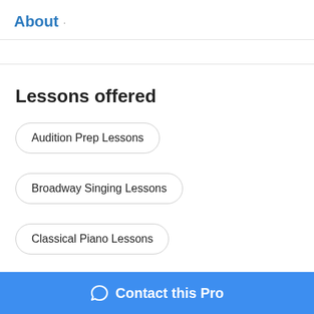About ·
Lessons offered
Audition Prep Lessons
Broadway Singing Lessons
Classical Piano Lessons
Classical Voice Lessons
Ear Training Lessons
Contact this Pro